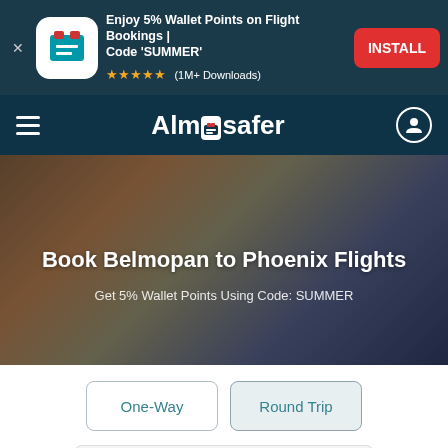[Figure (screenshot): App install ad banner with icon, text 'Enjoy 5% Wallet Points on Flight Bookings | Code SUMMER', star rating, 1M+ Downloads, and red INSTALL button]
Almosafer
Book Belmopan to Phoenix Flights
Get 5% Wallet Points Using Code: SUMMER
One-Way
Round Trip